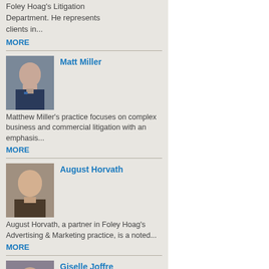Foley Hoag's Litigation Department. He represents clients in...
MORE
Matt Miller
Matthew Miller's practice focuses on complex business and commercial litigation with an emphasis...
MORE
August Horvath
August Horvath, a partner in Foley Hoag's Advertising & Marketing practice, is a noted...
MORE
Giselle Joffre
Giselle Joffre is a partner in Foley Hoag's Litigation Department, specializing in white collar...
MORE
Yoni Bard